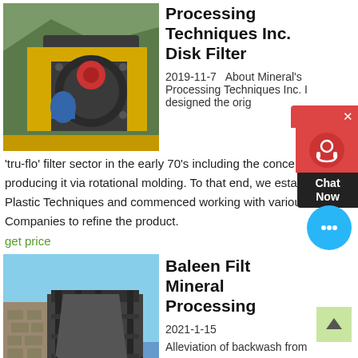[Figure (photo): Mining/crushing machine with yellow metal frame, large mechanical components, green mountainous background]
Processing Techniques Inc. Disk Filter
2019-11-7   About Mineral's Processing Techniques Inc. I designed the orig... 'tru-flo' filter sector in the early 70's including the concept of producing it via rotational molding. To that end, we established Plastic Techniques and commenced working with various Companies to refine the product.
get price
[Figure (photo): Industrial mineral processing facility with metal structure and framework, blue sky background]
Baleen Filter Mineral Processing
2021-1-15   Alleviation of backwash from desalination plants is